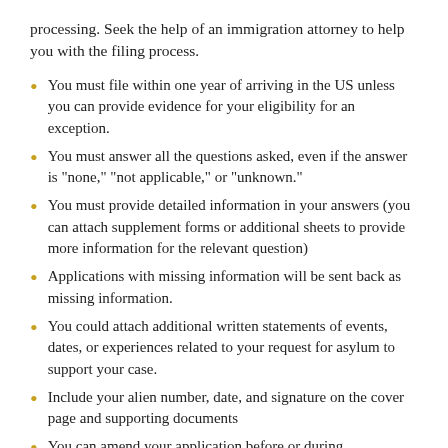processing. Seek the help of an immigration attorney to help you with the filing process.
You must file within one year of arriving in the US unless you can provide evidence for your eligibility for an exception.
You must answer all the questions asked, even if the answer is "none," "not applicable," or "unknown."
You must provide detailed information in your answers (you can attach supplement forms or additional sheets to provide more information for the relevant question)
Applications with missing information will be sent back as missing information.
You could attach additional written statements of events, dates, or experiences related to your request for asylum to support your case.
Include your alien number, date, and signature on the cover page and supporting documents
You can amend your application before or during